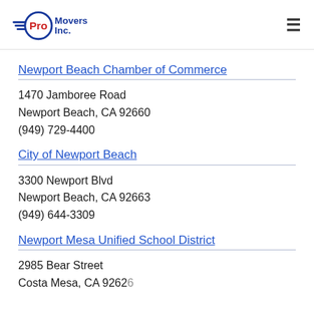Pro Movers Inc.
Newport Beach Chamber of Commerce
1470 Jamboree Road
Newport Beach, CA 92660
(949) 729-4400
City of Newport Beach
3300 Newport Blvd
Newport Beach, CA 92663
(949) 644-3309
Newport Mesa Unified School District
2985 Bear Street
Costa Mesa, CA 92626